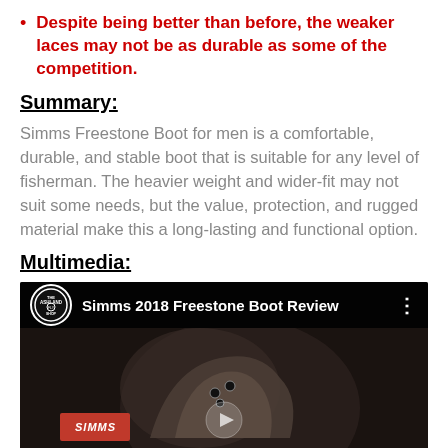Despite being better than before, the weaker laces may not be as durable as some of the competition.
Summary:
Simms Freestone Boot for men is a comfortable, durable, and stable boot that is suitable for any level of fisherman. The heavier weight and wider-fit may not suit some needs, but the value, protection, and rugged material make this a long-lasting and functional option.
Multimedia:
[Figure (screenshot): YouTube video thumbnail showing 'Simms 2018 Freestone Boot Review' with Ashland Fly Shop logo and boot image]